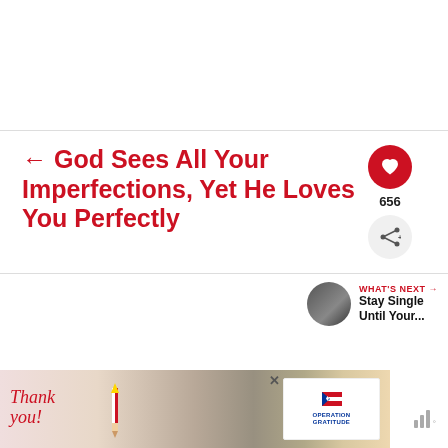← God Sees All Your Imperfections, Yet He Loves You Perfectly
656
WHAT'S NEXT → Stay Single Until Your...
[Figure (photo): Advertisement banner with 'Thank you!' handwriting, military personnel photo, and Operation Gratitude logo]
×